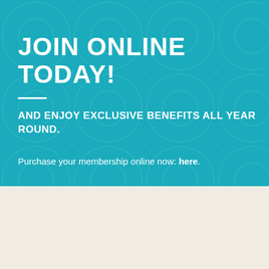JOIN ONLINE TODAY!
AND ENJOY EXCLUSIVE BENEFITS ALL YEAR ROUND.
Purchase your membership online now: here.
£35 - SUSTAIN MEMBERSHIP